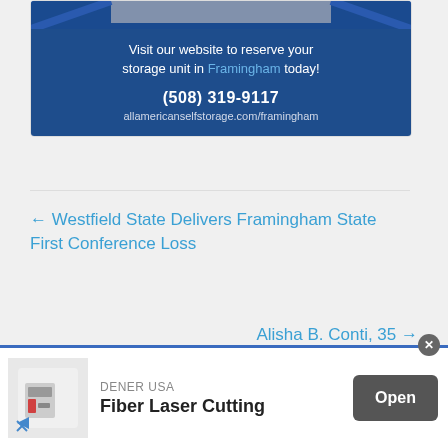[Figure (photo): Advertisement for All American Self Storage in Framingham. Blue background with text: 'Visit our website to reserve your storage unit in Framingham today!' with phone (508) 319-9117 and website allamericanselfstorage.com/framingham]
← Westfield State Delivers Framingham State First Conference Loss
Alisha B. Conti, 35 →
[Figure (infographic): Bottom banner advertisement for DENER USA Fiber Laser Cutting with an Open button and a close X button.]